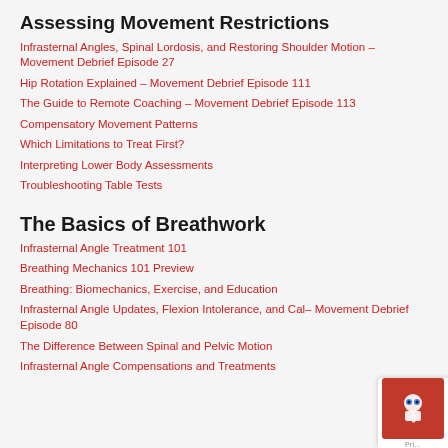Assessing Movement Restrictions
Infrasternal Angles, Spinal Lordosis, and Restoring Shoulder Motion – Movement Debrief Episode 27
Hip Rotation Explained – Movement Debrief Episode 111
The Guide to Remote Coaching – Movement Debrief Episode 113
Compensatory Movement Patterns
Which Limitations to Treat First?
Interpreting Lower Body Assessments
Troubleshooting Table Tests
The Basics of Breathwork
Infrasternal Angle Treatment 101
Breathing Mechanics 101 Preview
Breathing: Biomechanics, Exercise, and Education
Infrasternal Angle Updates, Flexion Intolerance, and Cal– Movement Debrief Episode 80
The Difference Between Spinal and Pelvic Motion
Infrasternal Angle Compensations and Treatments